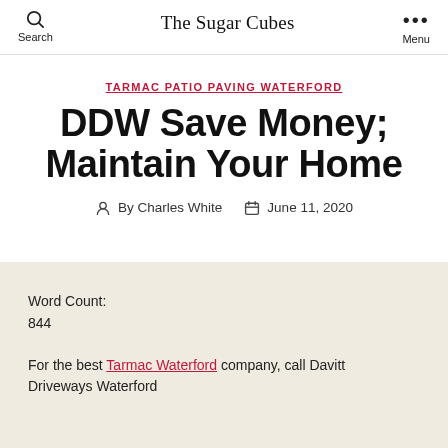The Sugar Cubes
TARMAC PATIO PAVING WATERFORD
DDW Save Money; Maintain Your Home
By Charles White   June 11, 2020
Word Count:
844
For the best Tarmac Waterford company, call Davitt Driveways Waterford